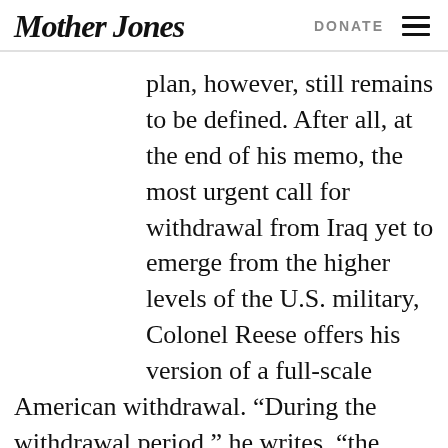Mother Jones   DONATE
plan, however, still remains to be defined. After all, at the end of his memo, the most urgent call for withdrawal from Iraq yet to emerge from the higher levels of the U.S. military, Colonel Reese offers his version of a full-scale American withdrawal. “During the withdrawal period,” he writes, “the USG [United States government] and GOI [government of Iraq] should develop a new strategic framework agreement that would include some lasting military presence at 1-3 large training bases, airbases, or key headquarters locations. But it should not include the presence of